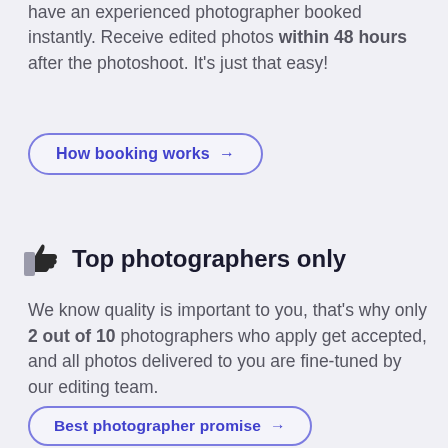have an experienced photographer booked instantly. Receive edited photos within 48 hours after the photoshoot. It's just that easy!
How booking works →
Top photographers only
We know quality is important to you, that's why only 2 out of 10 photographers who apply get accepted, and all photos delivered to you are fine-tuned by our editing team.
Best photographer promise →